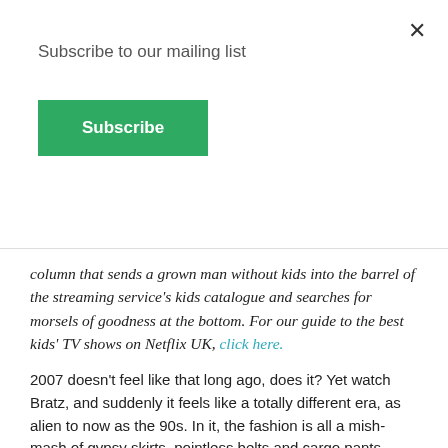Subscribe to our mailing list
Subscribe
column that sends a grown man without kids into the barrel of the streaming service's kids catalogue and searches for morsels of goodness at the bottom. For our guide to the best kids' TV shows on Netflix UK, click here.
2007 doesn't feel like that long ago, does it? Yet watch Bratz, and suddenly it feels like a totally different era, as alien to now as the 90s. In it, the fashion is all a mish-mash of gypsy skirts, pointless belts and cargo pants. Someone actually sings a line about having 10 million friends on MySpace. 2007 was also a year when a live action Bratz movie, based on a popular brand of ugly dolls, was seen as a good idea. Watching it gives you the horrible realisation that there's probably a